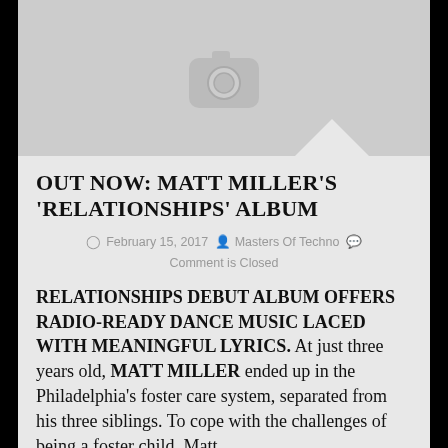[Figure (photo): Gray placeholder image with camera icon, white rounded square camera symbol centered]
OUT NOW: MATT MILLER'S 'RELATIONSHIPS' ALBUM
February 15, 2017  Masters Of Techno  Comment is Closed
RELATIONSHIPS DEBUT ALBUM OFFERS RADIO-READY DANCE MUSIC LACED WITH MEANINGFUL LYRICS. At just three years old, MATT MILLER ended up in the Philadelphia's foster care system, separated from his three siblings. To cope with the challenges of being a foster child, Matt